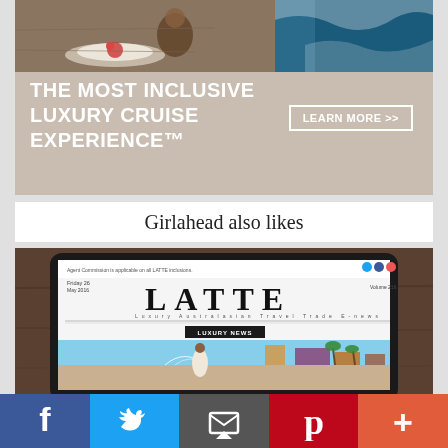[Figure (photo): Advertisement banner with photo of person relaxing by the sea on top, and text area below with tan/beige background. Headline reads 'THE MOST INCLUSIVE LUXURY CRUISE EXPERIENCE™' with a 'LEARN MORE >>' button.]
Girlahead also likes
[Figure (photo): Photo of a tablet device displaying the LATTE luxury newsletter/magazine, showing a woman walking near fountains in a warm city setting.]
[Figure (infographic): Social sharing bar at the bottom with Facebook (f), Twitter (bird), Email (envelope), Pinterest (P), and More (+) buttons in blue, light blue, grey, red, and orange-red colors.]